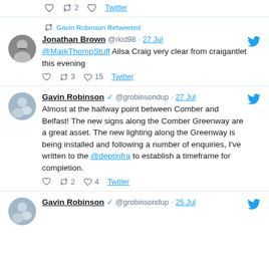2 Twitter (top partial tweet actions)
Gavin Robinson Retweeted
Jonathan Brown @rkid98 · 27 Jul
@MarkThompStuff Ailsa Craig very clear from craigantlet this evening
3 15 Twitter
Gavin Robinson @grobinsondup · 27 Jul
Almost at the halfway point between Comber and Belfast! The new signs along the Comber Greenway are a great asset. The new lighting along the Greenway is being installed and following a number of enquiries, I've written to the @deptinfra to establish a timeframe for completion.
2 4 Twitter
Gavin Robinson @grobinsondup · 25 Jul